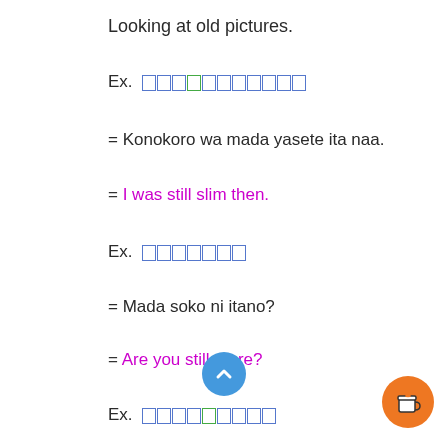Looking at old pictures.
Ex. [Japanese characters]
= Konokoro wa mada yasete ita naa.
= I was still slim then.
Ex. [Japanese characters]
= Mada soko ni itano?
= Are you still there?
Ex. [Japanese characters]
= Uchino ko wa mada sansai desu.
= My child is still 3 years old.